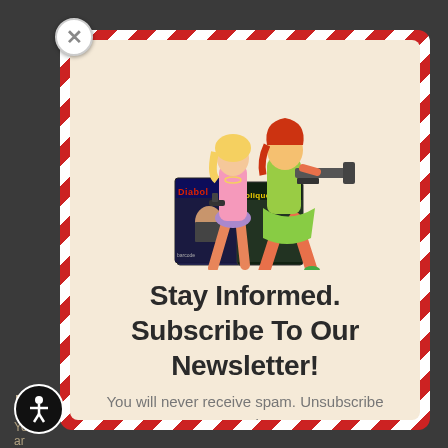[Figure (illustration): Two illustrated women in retro spy/action style - one blonde in pink holding a small pistol, one redhead in green holding a submachine gun - standing over two comic/magazine covers labeled 'Diabolique']
Stay Informed. Subscribe To Our Newsletter!
You will never receive spam. Unsubscribe at any time.